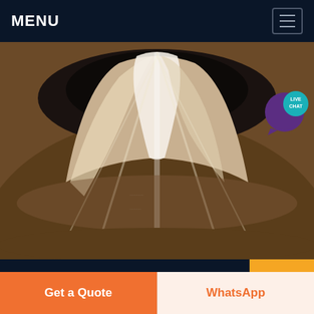MENU
[Figure (photo): Close-up interior view of a cone crusher bowl showing polished metal surface with light reflecting off the concave inner surface, brownish metallic casting exterior]
good quality sand plant crushe...
Good Quality Jaw Crusher New Type Reliable From China. Good Quality Jaw Crusher New
Get a Quote
WhatsApp